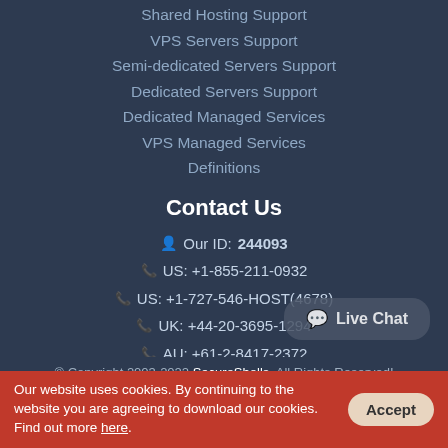Shared Hosting Support
VPS Servers Support
Semi-dedicated Servers Support
Dedicated Servers Support
Dedicated Managed Services
VPS Managed Services
Definitions
Contact Us
Our ID: 244093
US: +1-855-211-0932
US: +1-727-546-HOST(4678)
UK: +44-20-3695-1294
AU: +61-2-8417-2372
[Figure (other): Live Chat button]
© Copyright 2003-2022 SecureShells. All Rights Reserved!
Our website uses cookies. By continuing to the website you are agreeing to download our cookies. Find out more here.